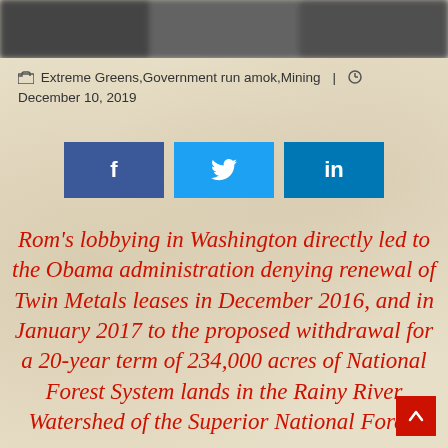[Figure (photo): Blurred/obscured image banner at top of page]
Extreme Greens,Government run amok,Mining  |  ⊙  December 10, 2019
[Figure (infographic): Three social media share buttons: Facebook (dark blue, f), Twitter (light blue, bird), LinkedIn (medium blue, in)]
Rom's lobbying in Washington directly led to the Obama administration denying renewal of Twin Metals leases in December 2016, and in January 2017 to the proposed withdrawal for a 20-year term of 234,000 acres of National Forest System lands in the Rainy River Watershed of the Superior National Forest